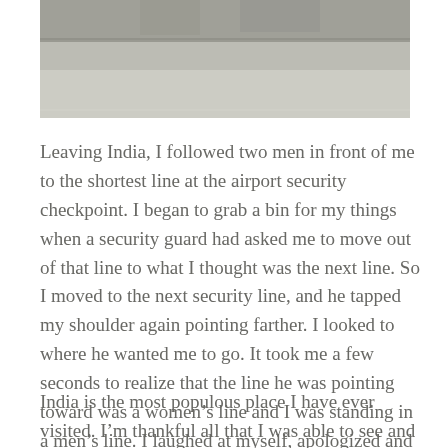[Figure (photo): Photograph of an outdoor stone/concrete floor area, appearing to be an airport or public space in India. The image is partially cropped showing the lower portion of the scene.]
Leaving India, I followed two men in front of me to the shortest line at the airport security checkpoint. I began to grab a bin for my things when a security guard had asked me to move out of that line to what I thought was the next line. So I moved to the next security line, and he tapped my shoulder again pointing farther. I looked to where he wanted me to go. It took me a few seconds to realize that the line he was pointing toward was a women’s line and I was standing in a men’s line. I laughed at myself, apologized and moved over to the women’s line.
India is the most populous place I have ever visited. I’m thankful all that I was able to see and experience.